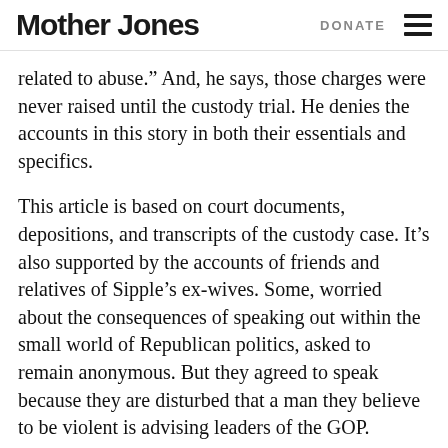Mother Jones | DONATE
related to abuse.” And, he says, those charges were never raised until the custody trial. He denies the accounts in this story in both their essentials and specifics.
This article is based on court documents, depositions, and transcripts of the custody case. It’s also supported by the accounts of friends and relatives of Sipple’s ex-wives. Some, worried about the consequences of speaking out within the small world of Republican politics, asked to remain anonymous. But they agreed to speak because they are disturbed that a man they believe to be violent is advising leaders of the GOP.